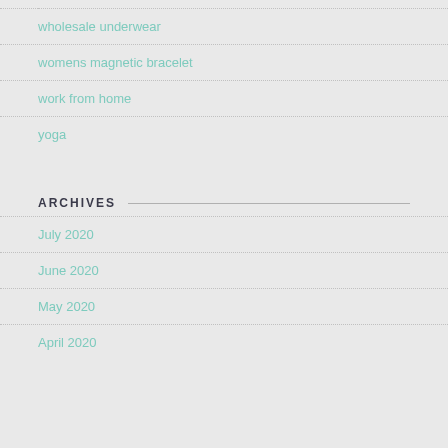wholesale underwear
womens magnetic bracelet
work from home
yoga
ARCHIVES
July 2020
June 2020
May 2020
April 2020